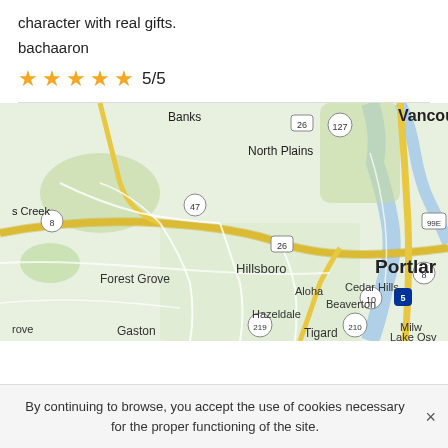character with real gifts.
bachaaron
5/5
[Figure (map): Google Maps showing Portland Oregon area including Vancouver, Banks, North Plains, Forest Grove, Hillsboro, Cedar Hills, Beaverton, Aloha, Hazeldale, Gaston, Tigard, Lake Oswego, Milwaukie and surrounding areas with highway routes 8, 26, 47, 127, 99E, 210, 219, 5]
By continuing to browse, you accept the use of cookies necessary for the proper functioning of the site.